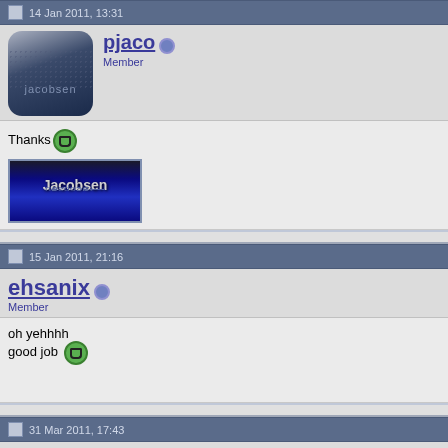14 Jan 2011, 13:31
pjaco
Member
Thanks 😁
[Figure (illustration): Jacobsen signature banner - blue gradient background with 'Jacobsen' text and reflection]
15 Jan 2011, 21:16
ehsanix
Member
oh yehhhh
good job 😁
31 Mar 2011, 17:43
galerio